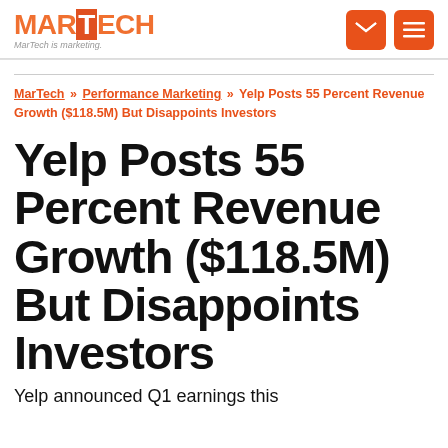MARTECH — MarTech is marketing.
MarTech » Performance Marketing » Yelp Posts 55 Percent Revenue Growth ($118.5M) But Disappoints Investors
Yelp Posts 55 Percent Revenue Growth ($118.5M) But Disappoints Investors
Yelp announced Q1 earnings this